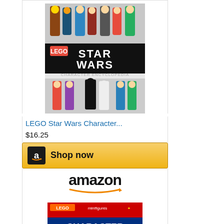[Figure (illustration): LEGO Star Wars Character Encyclopedia book cover showing LEGO Star Wars minifigures]
LEGO Star Wars Character...
$16.25
[Figure (logo): Amazon Shop now button with amazon logo]
[Figure (logo): Amazon wordmark with orange smile arrow]
[Figure (illustration): LEGO Minifigures Character Encyclopedia book cover]
LEGO Minifigures:...
$12.97 Prime
[Figure (logo): Amazon Shop now button with amazon logo]